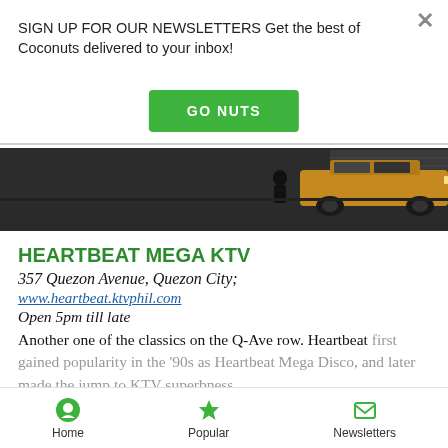SIGN UP FOR OUR NEWSLETTERS Get the best of Coconuts delivered to your inbox!
GO NUTS
[Figure (photo): Dark nighttime street scene showing a yellow/orange SUV parked on an urban street]
HEARTBEAT MEGA KTV
357 Quezon Avenue, Quezon City;
www.heartbeat.ktvphil.com
Open 5pm till late
Another one of the classics on the Q-Ave row. Heartbeat first gained popularity in the '90s as Heartbeat Mega Disco, and later made the jump to KTV superbness.
Home  Popular  Newsletters